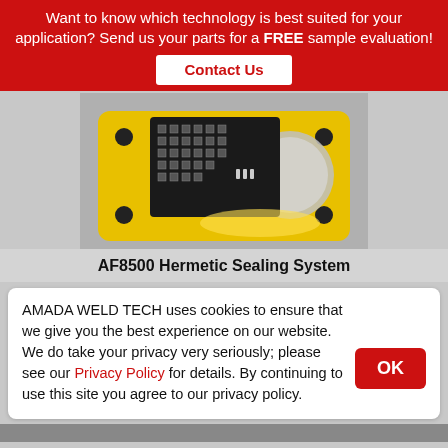Want to know which technology is best suited for your application? Send us your parts for a FREE sample evaluation!
Contact Us
[Figure (photo): Photo of AF8500 Hermetic Sealing System machine — yellow fixture with black electronic component array on top, circular metallic element, and mounting bolts.]
AF8500 Hermetic Sealing System
AMADA WELD TECH uses cookies to ensure that we give you the best experience on our website. We do take your privacy very seriously; please see our Privacy Policy for details. By continuing to use this site you agree to our privacy policy.
OK